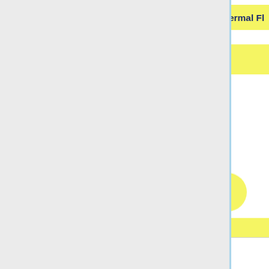[Figure (flowchart): Desire End-to-End Simulation Pipeline diagram showing pill-shaped nodes: Galaxy, Far SideLobes, Point Sources, Pointing, Thermal Fl[uctuation] (truncated), Planets, Zodiacal Light, and additional yellow pills (truncated). Nodes are cyan and yellow colored on white background.]
Desire End-to-End Simulation Pipeline
Complementary to the Yardstick simulations, the Desire simulations are used in conjunction with the actual TOI processing, in order to investigate the impact of some systematics. The Desire pipeline allows to simulate the response of the HFI-instrument, including the non-linearity of the bolometers, the time transfer-function of the readout electronic chain, the conversion from power of the sky to ADU